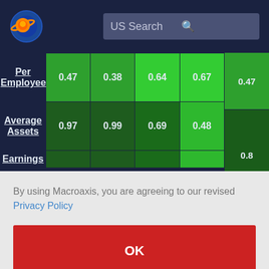[Figure (screenshot): Macroaxis website header with logo (blue circle with orange planet icon) and US Search bar]
|  | Col1 | Col2 | Col3 | Col4 | Col5 |
| --- | --- | --- | --- | --- | --- |
| Per Employee | 0.47 | 0.38 | 0.64 | 0.67 | 0.47 |
| Average Assets | 0.97 | 0.99 | 0.69 | 0.48 | 0.8 |
| Earnings |  |  |  |  | 0.82 |
By using Macroaxis, you are agreeing to our revised Privacy Policy
OK